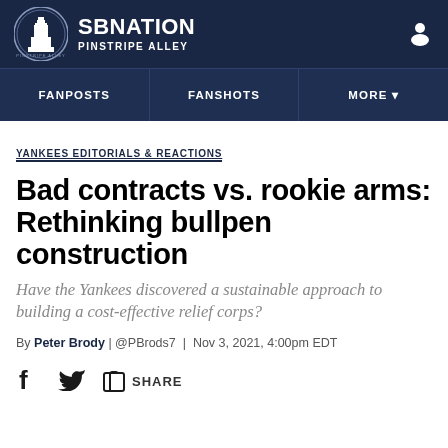SB NATION / PINSTRIPE ALLEY
FANPOSTS | FANSHOTS | MORE
YANKEES EDITORIALS & REACTIONS
Bad contracts vs. rookie arms: Rethinking bullpen construction
Have the Yankees discovered a sustainable approach to building a cost-effective relief corps?
By Peter Brody | @PBrods7 | Nov 3, 2021, 4:00pm EDT
SHARE